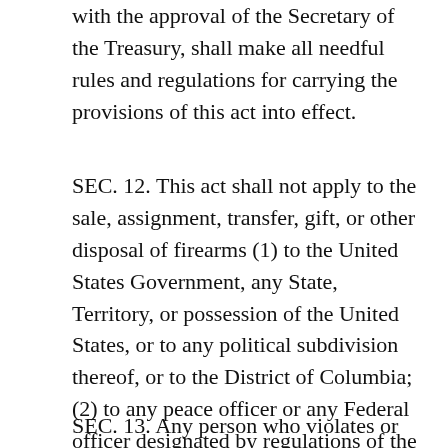with the approval of the Secretary of the Treasury, shall make all needful rules and regulations for carrying the provisions of this act into effect.
SEC. 12. This act shall not apply to the sale, assignment, transfer, gift, or other disposal of firearms (1) to the United States Government, any State, Territory, or possession of the United States, or to any political subdivision thereof, or to the District of Columbia; (2) to any peace officer or any Federal officer designated by regulations of the Commissioner of Internal Revenue.
SEC. 13. Any person who violates or fails to comply with any of the requirements of this